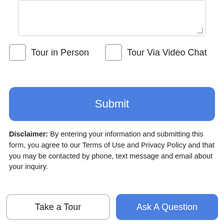[Figure (other): Text area input box with resize handle]
Tour in Person
Tour Via Video Chat
Submit
Disclaimer: By entering your information and submitting this form, you agree to our Terms of Use and Privacy Policy and that you may be contacted by phone, text message and email about your inquiry.
[Figure (logo): Broker Reciprocity logo with house icon]
© 2022 Outer Banks Association of Realtors MLS. IDX information is provided exclusively for consumers' personal, non-commercial use and may not be used for any purpose other than to identify prospective properties consumers may be interested in purchasing. Information is deemed reliable but is not guaranteed
Take a Tour
Ask A Question